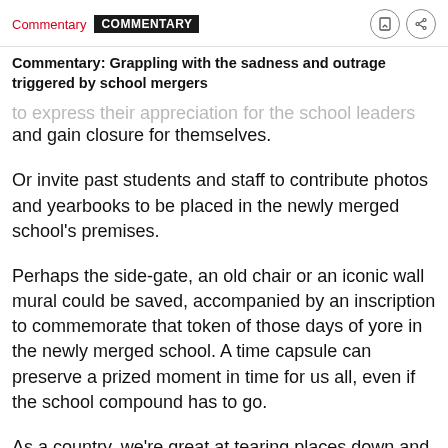Commentary | COMMENTARY
Commentary: Grappling with the sadness and outrage triggered by school mergers
...to express their appreciation for the school leaders and gain closure for themselves.
Or invite past students and staff to contribute photos and yearbooks to be placed in the newly merged school's premises.
Perhaps the side-gate, an old chair or an iconic wall mural could be saved, accompanied by an inscription to commemorate that token of those days of yore in the newly merged school. A time capsule can preserve a prized moment in time for us all, even if the school compound has to go.
As a country, we're great at tearing places down and...